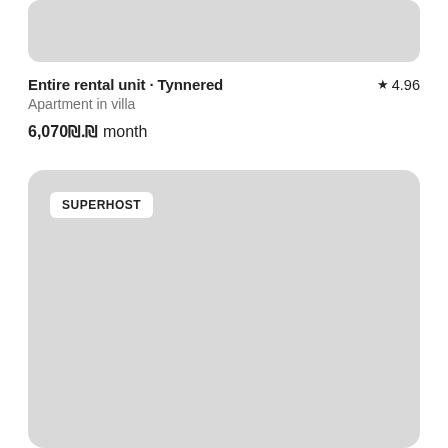[Figure (photo): Top portion of a rental listing image card, cropped, grey placeholder]
Entire rental unit · Tynnered ★ 4.96
Apartment in villa
6,070₪.₪ month
[Figure (photo): Rental property photo card with SUPERHOST badge overlay, grey placeholder image]